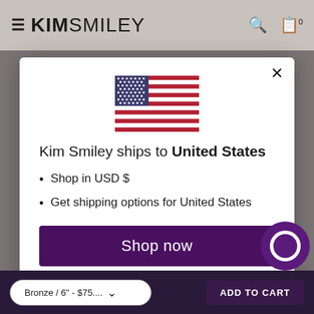KIM SMILEY
[Figure (screenshot): US flag emoji / illustration centered in modal]
Kim Smiley ships to United States
Shop in USD $
Get shipping options for United States
Shop now
Change shipping country
Bronze / 6" - $75....  ADD TO CART